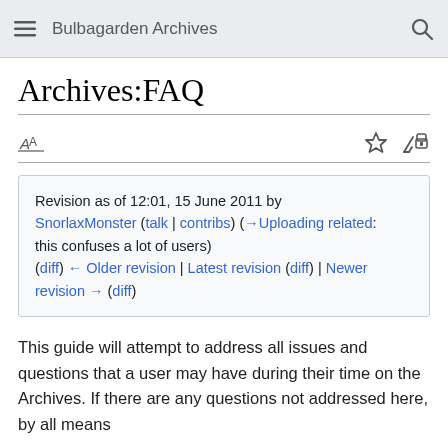Bulbagarden Archives
Archives:FAQ
Revision as of 12:01, 15 June 2011 by SnorlaxMonster (talk | contribs) (→Uploading related: this confuses a lot of users)
(diff) ← Older revision | Latest revision (diff) | Newer revision → (diff)
This guide will attempt to address all issues and questions that a user may have during their time on the Archives. If there are any questions not addressed here, by all means